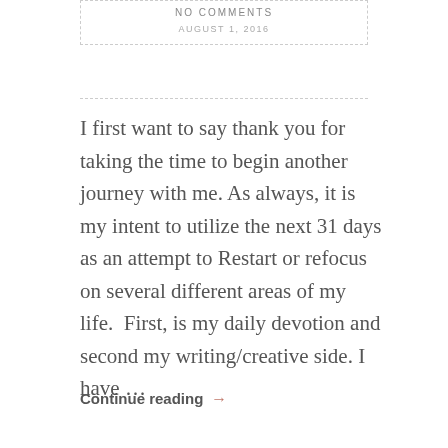NO COMMENTS
AUGUST 1, 2016
I first want to say thank you for taking the time to begin another journey with me. As always, it is my intent to utilize the next 31 days as an attempt to Restart or refocus on several different areas of my life.  First, is my daily devotion and second my writing/creative side. I have …
Continue reading →